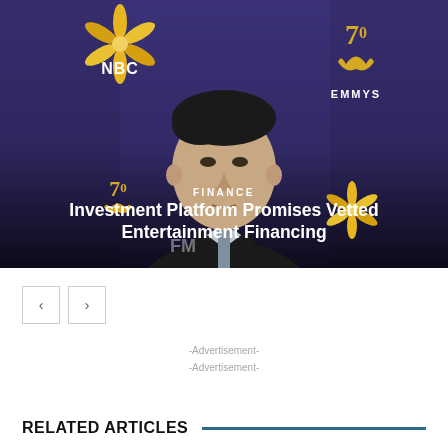[Figure (photo): Man in dark blazer standing in front of a purple/blue NBC Emmy Awards backdrop with NBC peacock logo and Emmy statuette logo visible]
FINANCE
Investment Platform Promises Vetted Entertainment Financing
-Advertisement-
-Advertisement-
RELATED ARTICLES